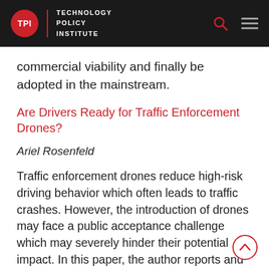TPI | TECHNOLOGY POLICY INSTITUTE
commercial viability and finally be adopted in the mainstream.
Are Drivers Ready for Traffic Enforcement Drones?
Ariel Rosenfeld
Traffic enforcement drones reduce high-risk driving behavior which often leads to traffic crashes. However, the introduction of drones may face a public acceptance challenge which may severely hinder their potential impact. In this paper, the author reports and discusses the results of a drivers' survey, administered both in the US and Israel,